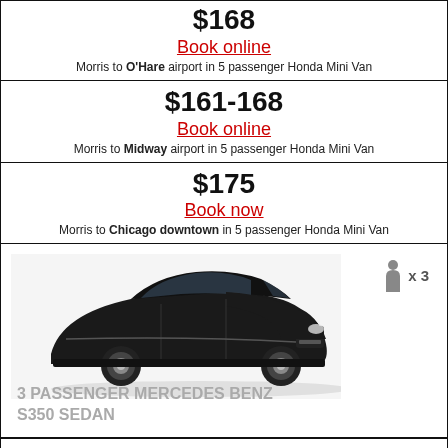$168
Book online
Morris to O'Hare airport in 5 passenger Honda Mini Van
$161-168
Book online
Morris to Midway airport in 5 passenger Honda Mini Van
$175
Book now
Morris to Chicago downtown in 5 passenger Honda Mini Van
[Figure (photo): Black Mercedes Benz S350 Sedan car with person icon x3 badge]
3 PASSENGER MERCEDES BENZ S350 SEDAN
$194
Book online
Morris to O'Hare airport in 3 passenger Mercedes Benz s350 Sedan